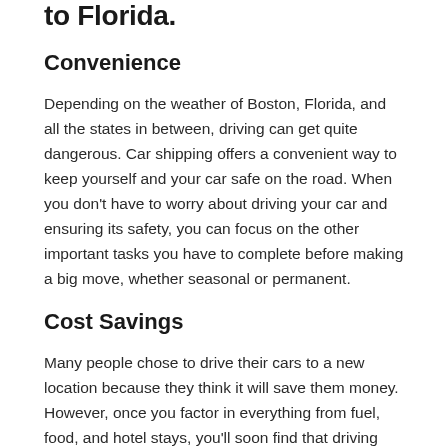to Florida.
Convenience
Depending on the weather of Boston, Florida, and all the states in between, driving can get quite dangerous. Car shipping offers a convenient way to keep yourself and your car safe on the road. When you don't have to worry about driving your car and ensuring its safety, you can focus on the other important tasks you have to complete before making a big move, whether seasonal or permanent.
Cost Savings
Many people chose to drive their cars to a new location because they think it will save them money. However, once you factor in everything from fuel, food, and hotel stays, you'll soon find that driving your car can get quite expensive.